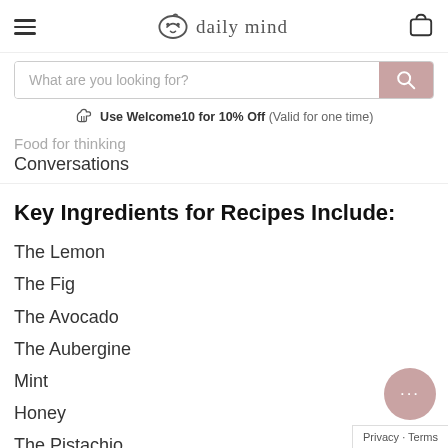daily mind
What are you looking for?
Use Welcome10 for 10% Off (Valid for one time)
Food for thinking
Conversations
Key Ingredients for Recipes Include:
The Lemon
The Fig
The Avocado
The Aubergine
Mint
Honey
The Pistachio
The Mushroom